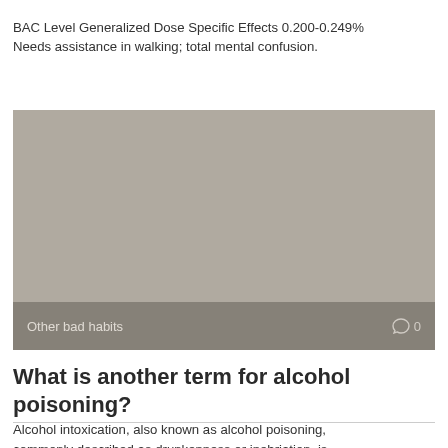BAC Level Generalized Dose Specific Effects 0.200-0.249% Needs assistance in walking; total mental confusion.
[Figure (photo): Gray placeholder image with overlay showing label 'Other bad habits' and comment count '0']
What is another term for alcohol poisoning?
Alcohol intoxication, also known as alcohol poisoning, commonly described as drunkenness or inebriation, is
[Figure (photo): Gray placeholder image partially visible at bottom of page]